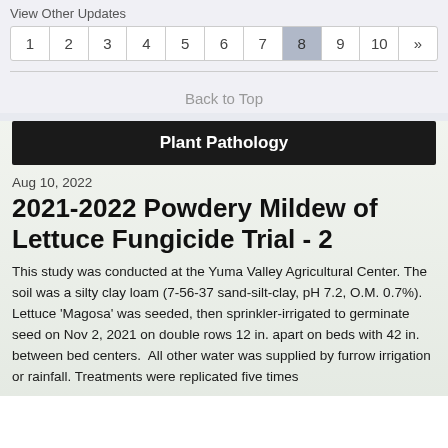View Other Updates
| 1 | 2 | 3 | 4 | 5 | 6 | 7 | 8 | 9 | 10 | » |
| --- | --- | --- | --- | --- | --- | --- | --- | --- | --- | --- |
Back to Top
Plant Pathology
Aug 10, 2022
2021-2022 Powdery Mildew of Lettuce Fungicide Trial - 2
This study was conducted at the Yuma Valley Agricultural Center. The soil was a silty clay loam (7-56-37 sand-silt-clay, pH 7.2, O.M. 0.7%). Lettuce 'Magosa' was seeded, then sprinkler-irrigated to germinate seed on Nov 2, 2021 on double rows 12 in. apart on beds with 42 in. between bed centers.  All other water was supplied by furrow irrigation or rainfall. Treatments were replicated five times